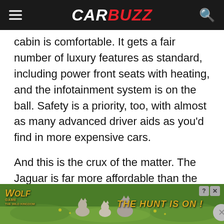CARBUZZ
cabin is comfortable. It gets a fair number of luxury features as standard, including power front seats with heating, and the infotainment system is on the ball. Safety is a priority, too, with almost as many advanced driver aids as you'd find in more expensive cars.

And this is the crux of the matter. The Jaguar is far more affordable than the majority of its luxury rivals. Even so, it is rarer on the road, and with its good looks, it really stands out and turns heads. It may not be the best in any one area, but it's a good all-
[Figure (infographic): Advertisement banner for Wolf Game: The Wild Kingdom mobile game. Shows wolves in a grassy field with text 'THE HUNT IS ON!']